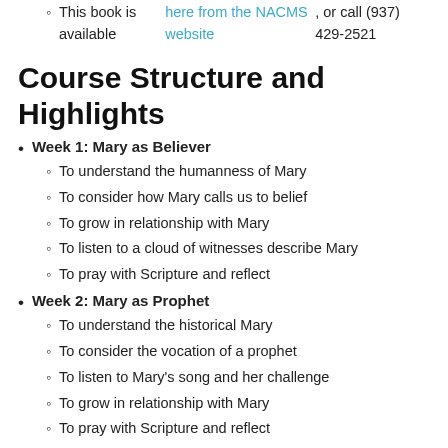This book is available here from the NACMS website, or call (937) 429-2521
Course Structure and Highlights
Week 1: Mary as Believer
To understand the humanness of Mary
To consider how Mary calls us to belief
To grow in relationship with Mary
To listen to a cloud of witnesses describe Mary
To pray with Scripture and reflect
Week 2: Mary as Prophet
To understand the historical Mary
To consider the vocation of a prophet
To listen to Mary's song and her challenge
To grow in relationship with Mary
To pray with Scripture and reflect
Week 3: Mary, God Bearer
To understand the spiritual maternity of Mary
To reflect on being formed by Mary